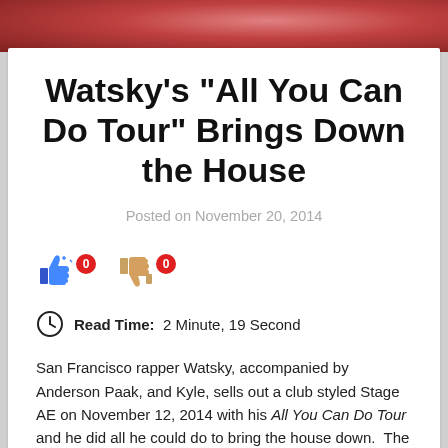[Figure (photo): Photo banner at top of article, showing reddish stage lighting or performance image]
Watsky’s “All You Can Do Tour” Brings Down the House
Posted on November 20, 2014
[Figure (infographic): Thumbs up and thumbs down voting buttons, each with a red badge showing count 0]
Read Time: 2 Minute, 19 Second
San Francisco rapper Watsky, accompanied by Anderson Paak, and Kyle, sells out a club styled Stage AE on November 12, 2014 with his All You Can Do Tour and he did all he could do to bring the house down.  The crowd was